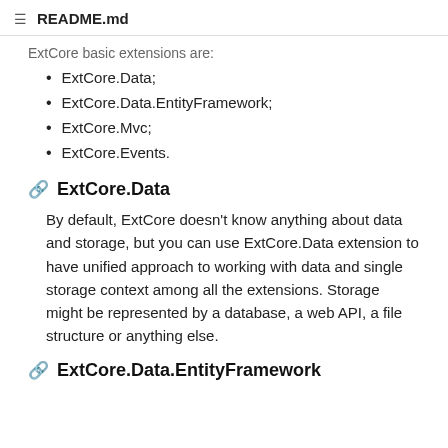README.md
ExtCore basic extensions are:
ExtCore.Data;
ExtCore.Data.EntityFramework;
ExtCore.Mvc;
ExtCore.Events.
ExtCore.Data
By default, ExtCore doesn't know anything about data and storage, but you can use ExtCore.Data extension to have unified approach to working with data and single storage context among all the extensions. Storage might be represented by a database, a web API, a file structure or anything else.
ExtCore.Data.EntityFramework